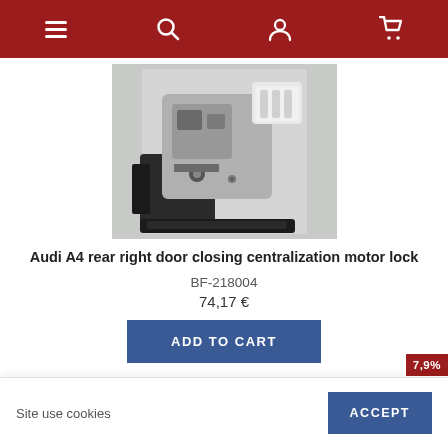Navigation bar with menu, search, account, and cart icons
[Figure (photo): Audi A4 rear right door closing centralization motor lock - automotive part with grey and white plastic components]
Audi A4 rear right door closing centralization motor lock
BF-218004
74,17 €
ADD TO CART
7,9%
Site use cookies
ACCEPT